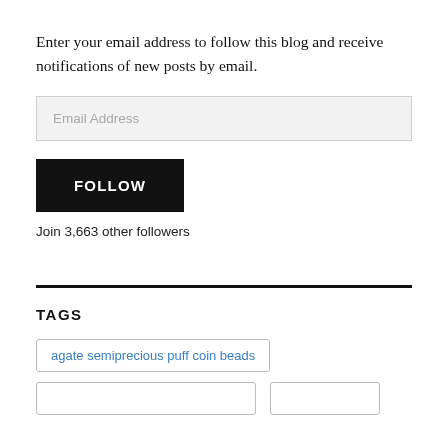Enter your email address to follow this blog and receive notifications of new posts by email.
Email Address
FOLLOW
Join 3,663 other followers
TAGS
agate semiprecious puff coin beads